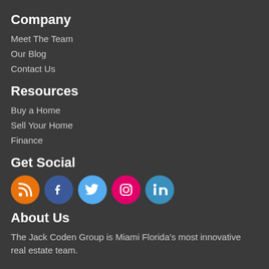Company
Meet The Team
Our Blog
Contact Us
Resources
Buy a Home
Sell Your Home
Finance
Get Social
[Figure (infographic): Row of five social media icons: RSS (orange), Facebook (dark blue), Twitter (light blue), Instagram (pink/magenta), LinkedIn (blue)]
About Us
The Jack Coden Group is Miami Florida's most innovative real estate team.